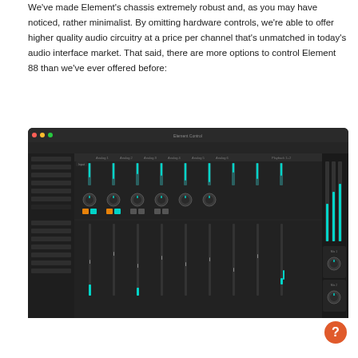We've made Element's chassis extremely robust and, as you may have noticed, rather minimalist. By omitting hardware controls, we're able to offer higher quality audio circuitry at a price per channel that's unmatched in today's audio interface market. That said, there are more options to control Element 88 than we've ever offered before:
[Figure (screenshot): Screenshot of Element 88 software mixer/control panel with dark UI showing multiple channel strips with faders, knobs, orange and teal colored buttons, level meters, and routing controls.]
[Figure (other): Circular orange help/question mark button in bottom right corner of page.]